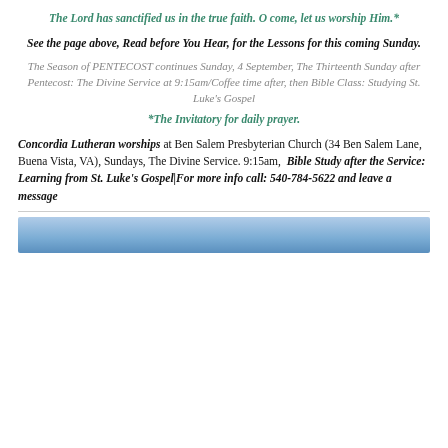The Lord has sanctified us in the true faith. O come, let us worship Him.*
See the page above, Read before You Hear, for the Lessons for this coming Sunday.
The Season of PENTECOST continues Sunday, 4 September, The Thirteenth Sunday after Pentecost: The Divine Service at 9:15am/Coffee time after, then Bible Class: Studying St. Luke's Gospel
*The Invitatory for daily prayer.
Concordia Lutheran worships at Ben Salem Presbyterian Church (34 Ben Salem Lane, Buena Vista, VA), Sundays, The Divine Service. 9:15am, Bible Study after the Service: Learning from St. Luke's Gospel|For more info call: 540-784-5622 and leave a message
[Figure (photo): Blue sky photograph strip at bottom of page]